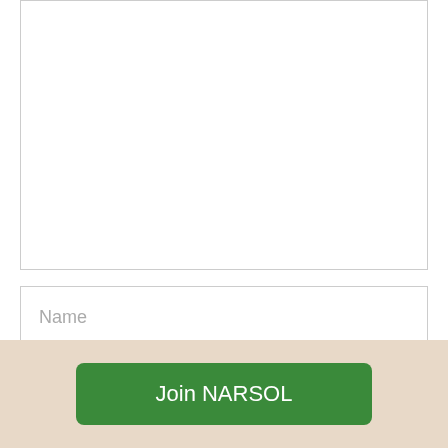[Figure (screenshot): Comment form with a large textarea (empty), followed by Name, Email, and Website URL input fields, an ADD COMMENT button, and a beige footer banner with a green Join NARSOL button.]
Name
Email
Website URL
ADD COMMENT
Join NARSOL